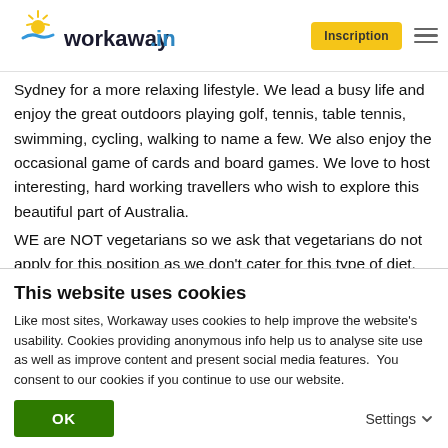workaway.info — Inscription
Sydney for a more relaxing lifestyle. We lead a busy life and enjoy the great outdoors playing golf, tennis, table tennis, swimming, cycling, walking to name a few. We also enjoy the occasional game of cards and board games. We love to host interesting, hard working travellers who wish to explore this beautiful part of Australia.
WE are NOT vegetarians so we ask that vegetarians do not apply for this position as we don't cater for this type of diet.
This is a non smoking household so we ask that only
This website uses cookies
Like most sites, Workaway uses cookies to help improve the website's usability. Cookies providing anonymous info help us to analyse site use as well as improve content and present social media features.  You consent to our cookies if you continue to use our website.
OK
Settings